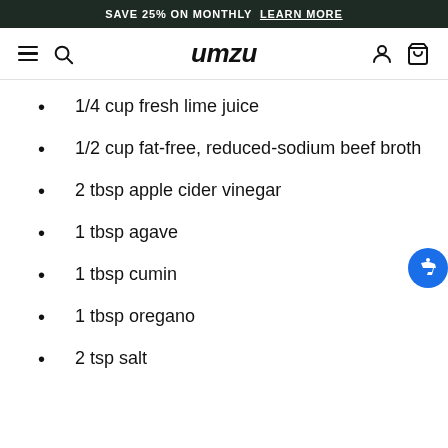SAVE 25% ON MONTHLY  LEARN MORE
[Figure (logo): umzu logo and navigation bar with hamburger menu, search, account, and cart icons]
1/4 cup fresh lime juice
1/2 cup fat-free, reduced-sodium beef broth
2 tbsp apple cider vinegar
1 tbsp agave
1 tbsp cumin
1 tbsp oregano
2 tsp salt